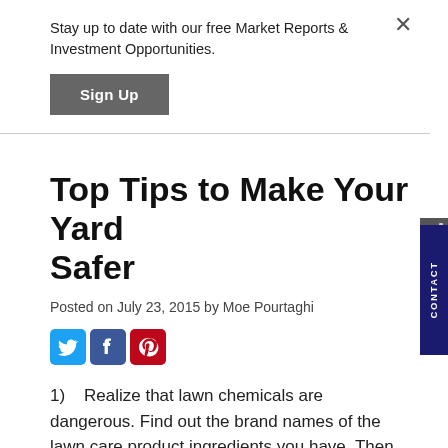Stay up to date with our free Market Reports & Investment Opportunities.
Sign Up
Top Tips to Make Your Yard Safer
Posted on July 23, 2015 by Moe Pourtaghi
[Figure (other): Social share icons: Twitter, Facebook, Pinterest]
1)   Realize that lawn chemicals are dangerous. Find out the brand names of the lawn care product ingredients you have. Then, visit their website and use their "What Can You Do?" section...